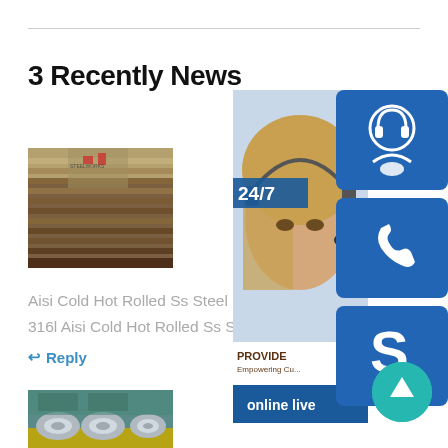3 Recently News
[Figure (photo): Steel plates/bars stacked outdoors near industrial building]
Aisi Cold Hot Rolled Ss Steel Coil 201 3... 316l Aisi Cold Hot Rolled Ss Steel Coil 2...
↩ Reply
[Figure (photo): Steel coils stored in factory warehouse on yellow floor]
[Figure (infographic): Customer service widget panel: 24/7 support banner with headset agent photo, blue icon boxes (headset, phone, Skype), online live bar, and scroll-to-top button]